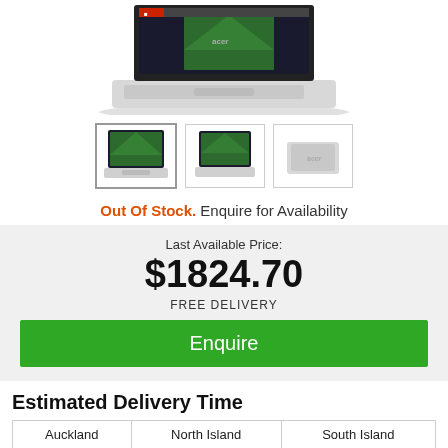[Figure (photo): Acer laptop open, silver, shown from front-above angle, partial top view cropped]
[Figure (photo): Three product thumbnail images of the Acer laptop from different angles]
Out Of Stock. Enquire for Availability
Last Available Price:
$1824.70
FREE DELIVERY
Enquire
Estimated Delivery Time
| Auckland
1 Day | North Island
1-2 Days | South Island
1-3 Days |
| --- | --- | --- |